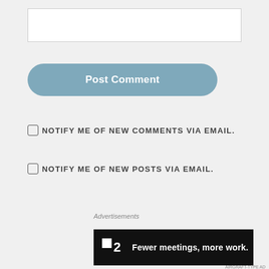[Figure (screenshot): Text input box (empty comment field)]
[Figure (screenshot): Post Comment button - rounded blue-grey button]
NOTIFY ME OF NEW COMMENTS VIA EMAIL.
NOTIFY ME OF NEW POSTS VIA EMAIL.
Advertisements
[Figure (logo): Pocket Casts logo - red circular icon with white signal/headphone lines, next to bold text 'Pocket Casts']
[Figure (screenshot): Close/dismiss button (X in circle) top right of ad area]
Advertisements
[Figure (screenshot): Dark banner ad: Fewer meetings, more work. with a square logo mark and number 2]